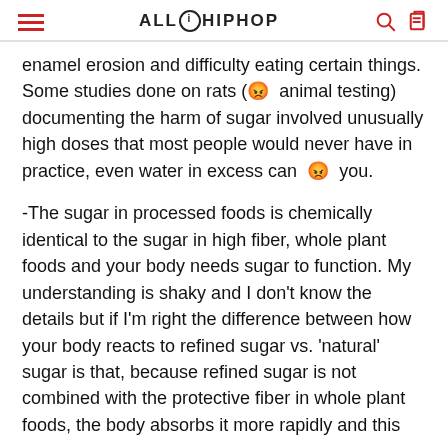ALL HIP HOP
enamel erosion and difficulty eating certain things. Some studies done on rats (😡 animal testing) documenting the harm of sugar involved unusually high doses that most people would never have in practice, even water in excess can 😡 you.
-The sugar in processed foods is chemically identical to the sugar in high fiber, whole plant foods and your body needs sugar to function. My understanding is shaky and I don't know the details but if I'm right the difference between how your body reacts to refined sugar vs. 'natural' sugar is that, because refined sugar is not combined with the protective fiber in whole plant foods, the body absorbs it more rapidly and this